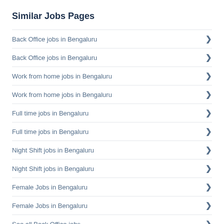Similar Jobs Pages
Back Office jobs in Bengaluru
Back Office jobs in Bengaluru
Work from home jobs in Bengaluru
Work from home jobs in Bengaluru
Full time jobs in Bengaluru
Full time jobs in Bengaluru
Night Shift jobs in Bengaluru
Night Shift jobs in Bengaluru
Female Jobs in Bengaluru
Female Jobs in Bengaluru
See all Back Office jobs
All Jobs in Bengaluru